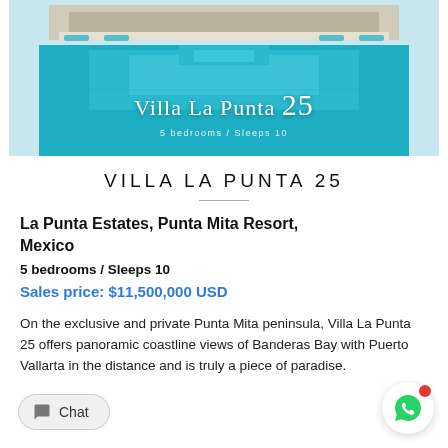[Figure (photo): Hero image of Villa La Punta 25 showing a pool with lounge chairs and villa building. Overlaid text reads 'Villa La Punta 25 / 5 bedrooms / Sleeps 10']
VILLA LA PUNTA 25
La Punta Estates, Punta Mita Resort, Mexico
5 bedrooms / Sleeps 10
Sales price: $11,500,000 USD
On the exclusive and private Punta Mita peninsula, Villa La Punta 25 offers panoramic coastline views of Banderas Bay with Puerto Vallarta in the distance and is truly a piece of paradise.